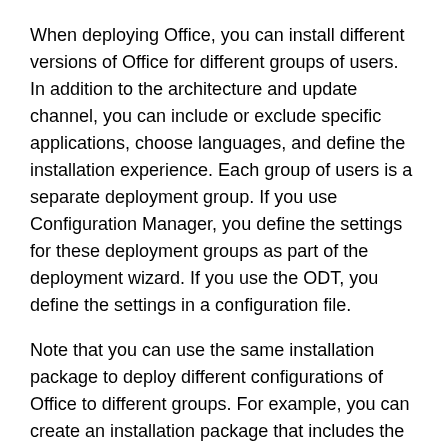When deploying Office, you can install different versions of Office for different groups of users. In addition to the architecture and update channel, you can include or exclude specific applications, choose languages, and define the installation experience. Each group of users is a separate deployment group. If you use Configuration Manager, you define the settings for these deployment groups as part of the deployment wizard. If you use the ODT, you define the settings in a configuration file.
Note that you can use the same installation package to deploy different configurations of Office to different groups. For example, you can create an installation package that includes the following:
32-bit version of Microsoft 365 Apps
English, Japanese, and German
Semi-Annual Enterprise Channel